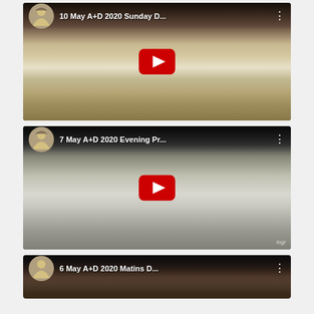[Figure (screenshot): YouTube video thumbnail showing a priest at an altar in a church, with overlay title '10 May A+D 2020 Sunday D...' and a red YouTube play button]
[Figure (screenshot): YouTube video thumbnail showing an empty church interior with a clergy member at a lectern, with overlay title '7 May A+D 2020 Evening Pr...' and a red YouTube play button, with Logitech watermark]
[Figure (screenshot): YouTube video thumbnail partially visible at bottom showing dark church interior, with partial title '6 May A+D 2020 Matins...' visible]